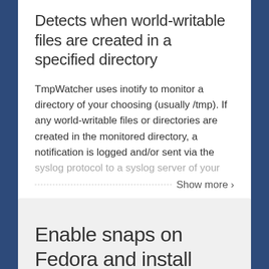Detects when world-writable files are created in a specified directory
TmpWatcher uses inotify to monitor a directory of your choosing (usually /tmp). If any world-writable files or directories are created in the monitored directory, a notification is logged and/or sent via the syslog protocol to a syslog server of your
Show more
Enable snaps on Fedora and install TmpWatcher